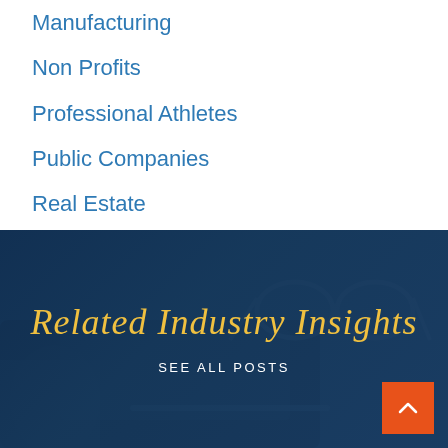Manufacturing
Non Profits
Professional Athletes
Public Companies
Real Estate
Tax
[Figure (photo): Dark blue tinted photo of a person touching a tablet, with glasses resting on a surface. Overlay with 'Related Industry Insights' in gold script and 'SEE ALL POSTS' in white text. Orange back-to-top button in bottom right.]